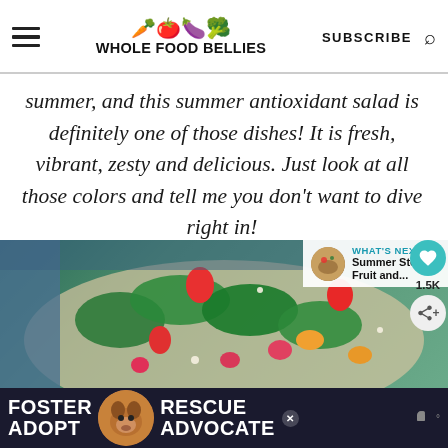WHOLE FOOD BELLIES
summer, and this summer antioxidant salad is definitely one of those dishes! It is fresh, vibrant, zesty and delicious. Just look at all those colors and tell me you don't want to dive right in!
[Figure (photo): Photo of a colorful antioxidant salad with strawberries, spinach, radishes and other vegetables on a wooden board]
WHAT'S NEXT → Summer Stone Fruit and...
[Figure (photo): Advertisement banner: FOSTER ADOPT (dog image) RESCUE ADVOCATE]